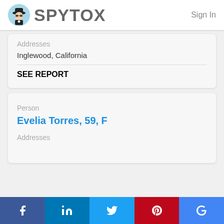[Figure (logo): Spytox logo with spy icon and text SPYTOX, with Sign In link]
Addresses
Inglewood, California
SEE REPORT
Person
Evelia Torres, 59, F
Addresses
[Figure (infographic): Social media footer bar with Facebook, LinkedIn, Twitter, Pinterest, and Google icons]